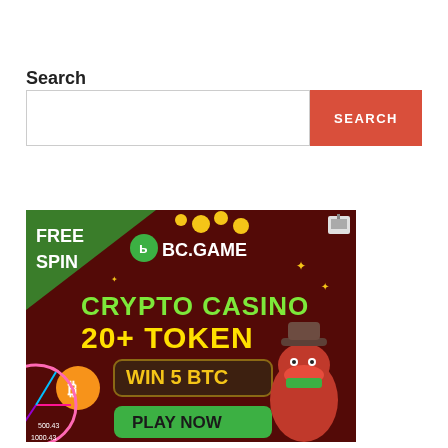Search
[Figure (screenshot): Search bar with a text input field and a red SEARCH button]
[Figure (infographic): BC.GAME crypto casino advertisement banner: FREE SPIN, BC.GAME logo, CRYPTO CASINO 20+ TOKEN, WIN 5 BTC, PLAY NOW button, casino character (crocodile cowboy), Bitcoin coin, prize wheel]